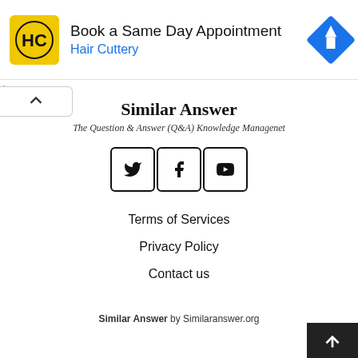[Figure (other): Advertisement banner for Hair Cuttery: logo (HC in yellow circle), text 'Book a Same Day Appointment' and 'Hair Cuttery' in blue, navigation arrow icon in blue diamond shape]
Similar Answer
The Question & Answer (Q&A) Knowledge Managenet
[Figure (other): Three social media icon buttons in square borders: Twitter (bird), Facebook (f), YouTube (play button)]
Terms of Services
Privacy Policy
Contact us
Similar Answer by Similaranswer.org